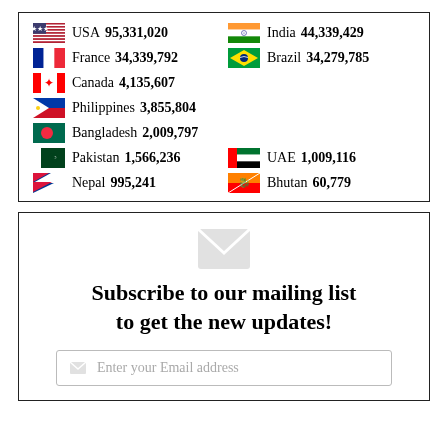| Country | Count |
| --- | --- |
| USA | 95,331,020 |
| India | 44,339,429 |
| France | 34,339,792 |
| Brazil | 34,279,785 |
| Canada | 4,135,607 |
| Philippines | 3,855,804 |
| Bangladesh | 2,009,797 |
| Pakistan | 1,566,236 |
| UAE | 1,009,116 |
| Nepal | 995,241 |
| Bhutan | 60,779 |
Subscribe to our mailing list to get the new updates!
Enter your Email address